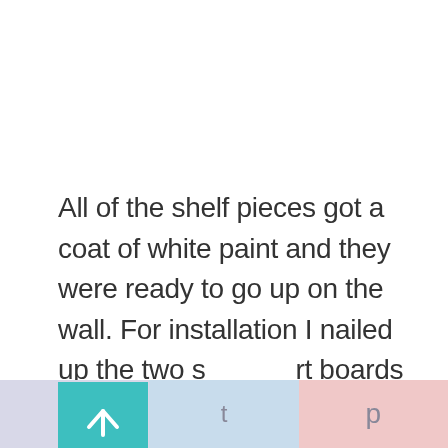All of the shelf pieces got a coat of white paint and they were ready to go up on the wall. For installation I nailed up the two support boards (one short and one long) for each shelf. The long support was flush with the wall on the left and the short support rests against the long board. I decided on 18 inches as the magic number between my shelves. That gave me enough room for tall detergent
[Figure (other): Teal/cyan square scroll-to-top button with upward arrow icon]
f   t   p